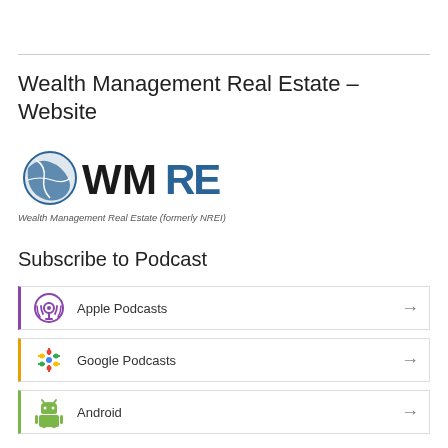Wealth Management Real Estate – Website
[Figure (logo): WMRE logo with globe icon and text 'WMRE', tagline: Wealth Management Real Estate (formerly NREI)]
Subscribe to Podcast
Apple Podcasts
Google Podcasts
Android